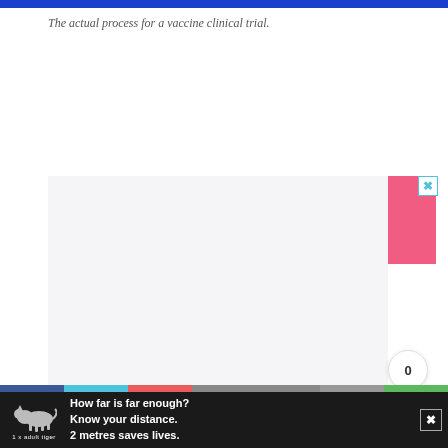The actual process for a vaccine clinical trial.
[Figure (other): Pink advertisement banner reading KINDNESS CAN'T BE QUARANTINED with a close button]
[Figure (other): Gray content placeholder area below the pink ad banner]
[Figure (other): Bottom navigation bar with colored segments (blue, cyan, red, gray, gray, gray, green)]
[Figure (other): Bottom dark advertisement bar with tiger icon and text: How far is far enough? Know your distance. 2 metres saves lives. 1 x adult tiger]